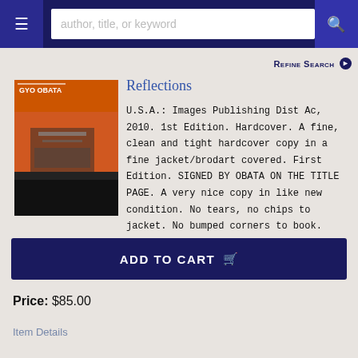author, title, or keyword
Refine Search
[Figure (photo): Book cover of Gyo Obata with orange and dark cover design]
Reflections
U.S.A.: Images Publishing Dist Ac, 2010. 1st Edition. Hardcover. A fine, clean and tight hardcover copy in a fine jacket/brodart covered. First Edition. SIGNED BY OBATA ON THE TITLE PAGE. A very nice copy in like new condition. No tears, no chips to jacket. No bumped corners to book. ***......
More >
ADD TO CART
Price: $85.00
Item Details